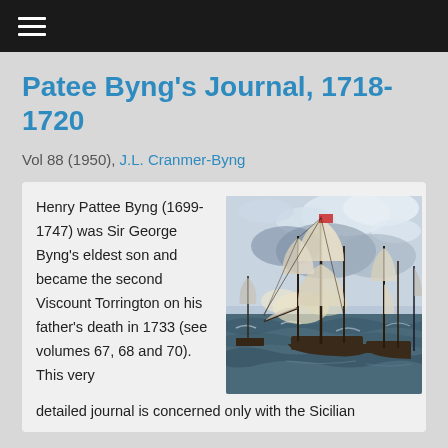☰
Patee Byng's Journal, 1718-1720
Vol 88 (1950), J.L. Cranmer-Byng
Henry Pattee Byng (1699-1747) was Sir George Byng's eldest son and became the second Viscount Torrington on his father's death in 1733 (see volumes 67, 68 and 70). This very detailed journal is concerned only with the Sicilian
[Figure (photo): Naval battle scene painting showing tall-masted sailing ships engaged in combat on choppy seas with smoke and clouds visible]
Campaign between 1718 and 1720. The